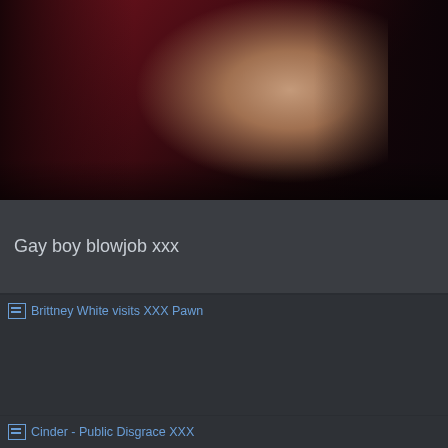[Figure (photo): Partial video thumbnail showing figures against dark red/maroon background]
Gay boy blowjob xxx
[Figure (photo): Broken image placeholder for Brittney White visits XXX Pawn]
Brittney White visits XXX Pawn
[Figure (photo): Broken image placeholder for Cinder - Public Disgrace XXX]